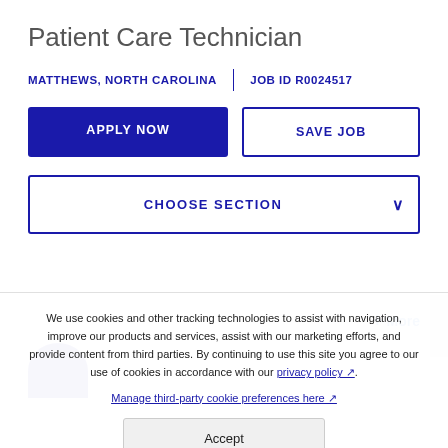Patient Care Technician
MATTHEWS, NORTH CAROLINA  |  JOB ID R0024517
APPLY NOW
SAVE JOB
CHOOSE SECTION
+ More
We use cookies and other tracking technologies to assist with navigation, improve our products and services, assist with our marketing efforts, and provide content from third parties. By continuing to use this site you agree to our use of cookies in accordance with our privacy policy. Manage third-party cookie preferences here.
Accept